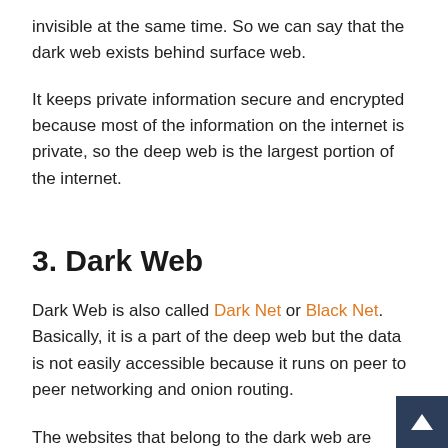invisible at the same time. So we can say that the dark web exists behind surface web.
It keeps private information secure and encrypted because most of the information on the internet is private, so the deep web is the largest portion of the internet.
3. Dark Web
Dark Web is also called Dark Net or Black Net. Basically, it is a part of the deep web but the data is not easily accessible because it runs on peer to peer networking and onion routing.
The websites that belong to the dark web are mostly hosted personal servers and usually run all kind of illegal and crim